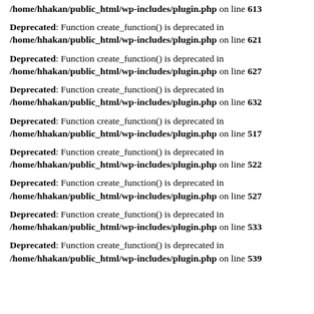/home/hhakan/public_html/wp-includes/plugin.php on line 613
Deprecated: Function create_function() is deprecated in /home/hhakan/public_html/wp-includes/plugin.php on line 621
Deprecated: Function create_function() is deprecated in /home/hhakan/public_html/wp-includes/plugin.php on line 627
Deprecated: Function create_function() is deprecated in /home/hhakan/public_html/wp-includes/plugin.php on line 632
Deprecated: Function create_function() is deprecated in /home/hhakan/public_html/wp-includes/plugin.php on line 517
Deprecated: Function create_function() is deprecated in /home/hhakan/public_html/wp-includes/plugin.php on line 522
Deprecated: Function create_function() is deprecated in /home/hhakan/public_html/wp-includes/plugin.php on line 527
Deprecated: Function create_function() is deprecated in /home/hhakan/public_html/wp-includes/plugin.php on line 533
Deprecated: Function create_function() is deprecated in /home/hhakan/public_html/wp-includes/plugin.php on line 539